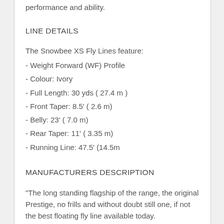performance and ability.
LINE DETAILS
The Snowbee XS Fly Lines feature:
- Weight Forward (WF) Profile
- Colour: Ivory
- Full Length: 30 yds ( 27.4 m )
- Front Taper: 8.5' ( 2.6 m)
- Belly: 23' ( 7.0 m)
- Rear Taper: 11' ( 3.35 m)
- Running Line: 47.5' (14.5m
MANUFACTURERS DESCRIPTION
"The long standing flagship of the range, the original Prestige, no frills and without doubt still one, if not the best floating fly line available today.